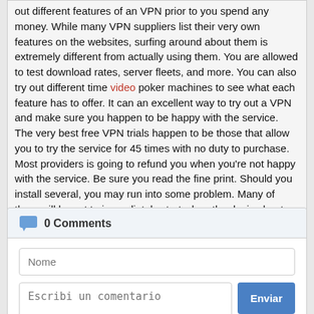out different features of an VPN prior to you spend any money. While many VPN suppliers list their very own features on the websites, surfing around about them is extremely different from actually using them. You are allowed to test download rates, server fleets, and more. You can also try out different time video poker machines to see what each feature has to offer. It can an excellent way to try out a VPN and make sure you happen to be happy with the service.
The very best free VPN trials happen to be those that allow you to try the service for 45 times with no duty to purchase. Most providers is going to refund you when you're not happy with the service. Be sure you read the fine print. Should you install several, you may run into some problem. Many of them will be set to immediately start when the device boots up, which could issues if you mount multiple software. Also, be sure to don't set up more than one no cost VPN trial.
0 Comments
Nome
Escribi un comentario
Enviar